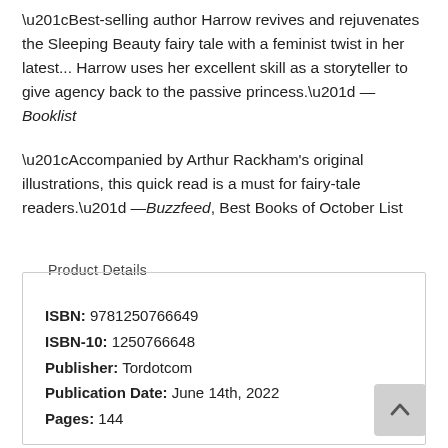“Best-selling author Harrow revives and rejuvenates the Sleeping Beauty fairy tale with a feminist twist in her latest... Harrow uses her excellent skill as a storyteller to give agency back to the passive princess.” —Booklist
“Accompanied by Arthur Rackham's original illustrations, this quick read is a must for fairy-tale readers.” —Buzzfeed, Best Books of October List
Product Details
| ISBN: | 9781250766649 |
| ISBN-10: | 1250766648 |
| Publisher: | Tordotcom |
| Publication Date: | June 14th, 2022 |
| Pages: | 144 |